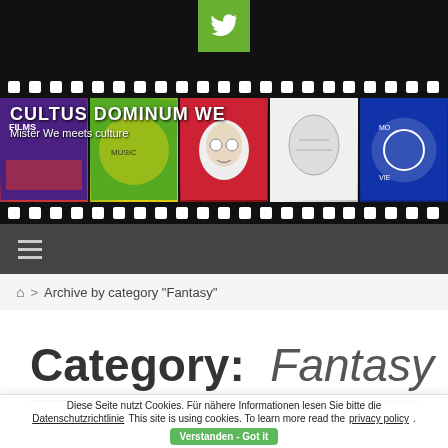[Figure (screenshot): Twitter bird icon button in green square at top center]
CULTUS DOMINUM WE — Mister We meets culture (film strip header with artwork images)
Navigation hamburger menu bar
🏠 > Archive by category "Fantasy"
Category:  Fantasy
Diese Seite nutzt Cookies. Für nähere Informationen lesen Sie bitte die Datenschutzrichtlinie This site is using cookies. To learn more read the privacy policy. Verstanden - Got it